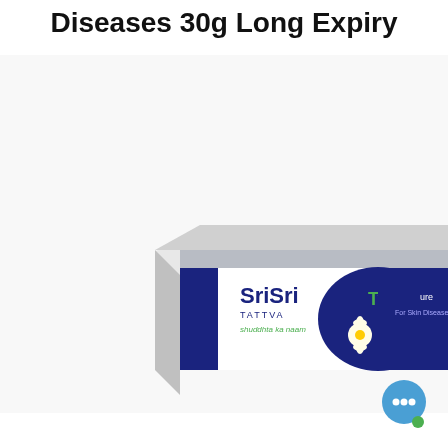Diseases 30g Long Expiry
[Figure (photo): Product photo of Sri Sri Tattva Twaqure cream tube and box. The white tube features the Sri Sri Tattva branding in dark navy and green, with 'Twaqure' written in large white letters on a navy band, and flower illustrations. The matching rectangular box is white with navy and green accents, displaying 'Sri Sri TATTVA shuddhta ka naam' and 'Twaqure' branding.]